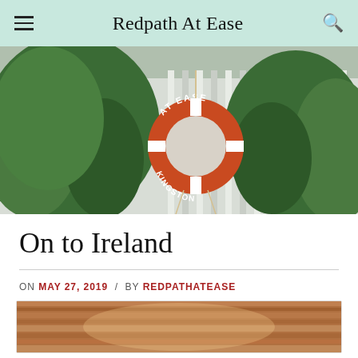Redpath At Ease
[Figure (photo): Outdoor photo showing a white fence with an orange life preserver ring reading 'AT EASE KINGSTON' surrounded by green trees and shrubs]
On to Ireland
ON MAY 27, 2019 / BY REDPATHATEASE
[Figure (photo): Partial view of a wooden interior, warm brown tones, bottom of page preview]